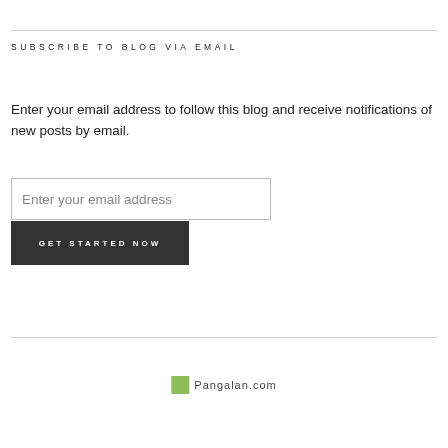SUBSCRIBE TO BLOG VIA EMAIL
Enter your email address to follow this blog and receive notifications of new posts by email.
[Figure (other): Email input field with placeholder text 'Enter your email address' and a dark button labeled 'GET STARTED NOW']
Pangalan.com